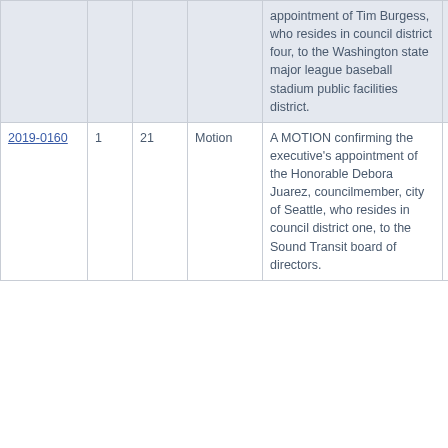|  |  |  |  | appointment of Tim Burgess, who resides in council district four, to the Washington state major league baseball stadium public facilities district. | Passed | Pa |
| 2019-0160 | 1 | 21 | Motion | A MOTION confirming the executive's appointment of the Honorable Debora Juarez, councilmember, city of Seattle, who resides in council district one, to the Sound Transit board of directors. | Passed | Pa |